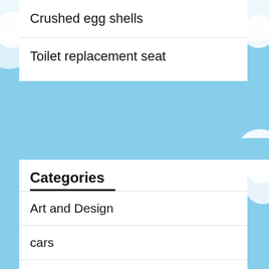Crushed egg shells
Toilet replacement seat
Categories
Art and Design
cars
Gaming, Videos and Toys
Healthies
Home Decor and Interior Design